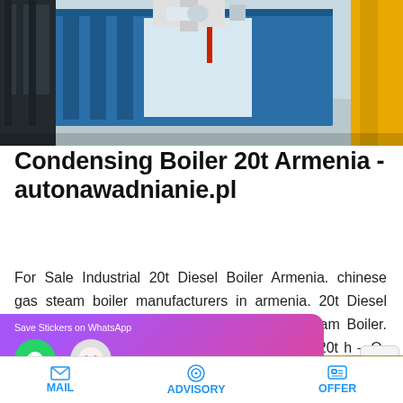[Figure (photo): Industrial boiler equipment showing blue metal housing with pipes and mechanical components]
Condensing Boiler 20t Armenia - autonawadnianie.pl
For Sale Industrial 20t Diesel Boiler Armenia. chinese gas steam boiler manufacturers in armenia. 20t Diesel Steam Boiler Armenia. 1T 20T Gas Fired Steam Boiler. 20T Oil Fired Steam Boiler. boiler on coal fire 20t h – O-typ…
[Figure (screenshot): Save Stickers on WhatsApp app promotion banner with WhatsApp and emoji icons, shown over industrial pipe background]